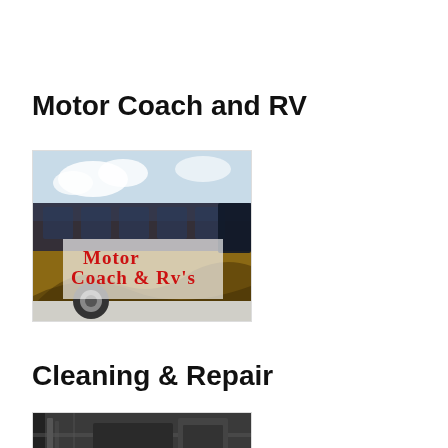Motor Coach and RV
[Figure (photo): Photo of a motor coach bus with text overlay reading 'Motor Coach & Rv's' in red lettering on a decorative background]
Cleaning & Repair
[Figure (photo): Partial photo of cleaning or repair equipment, cropped at page bottom]